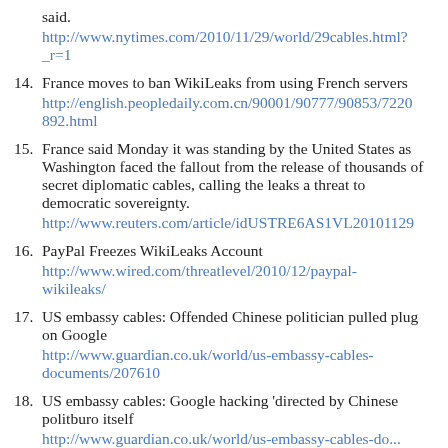said.
http://www.nytimes.com/2010/11/29/world/29cables.html?_r=1
14. France moves to ban WikiLeaks from using French servers
http://english.peopledaily.com.cn/90001/90777/90853/7220892.html
15. France said Monday it was standing by the United States as Washington faced the fallout from the release of thousands of secret diplomatic cables, calling the leaks a threat to democratic sovereignty.
http://www.reuters.com/article/idUSTRE6AS1VL20101129
16. PayPal Freezes WikiLeaks Account
http://www.wired.com/threatlevel/2010/12/paypal-wikileaks/
17. US embassy cables: Offended Chinese politician pulled plug on Google
http://www.guardian.co.uk/world/us-embassy-cables-documents/207610
18. US embassy cables: Google hacking 'directed by Chinese politburo itself
http://...